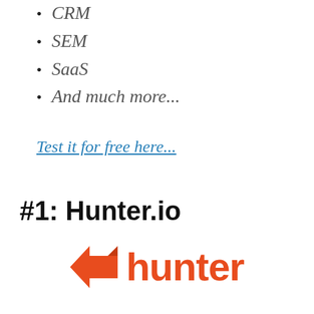CRM
SEM
SaaS
And much more...
Test it for free here...
#1: Hunter.io
[Figure (logo): Hunter.io logo: orange fox/arrow icon followed by the word 'hunter' in orange bold text]